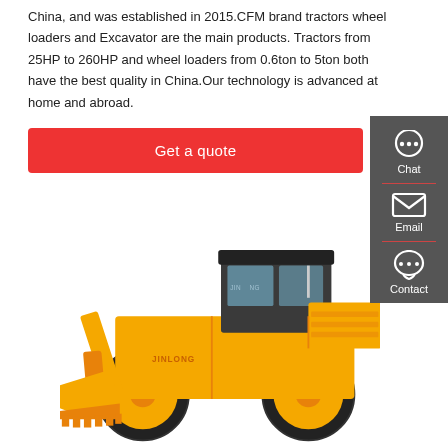China, and was established in 2015.CFM brand tractors wheel loaders and Excavator are the main products. Tractors from 25HP to 260HP and wheel loaders from 0.6ton to 5ton both have the best quality in China.Our technology is advanced at home and abroad.
Get a quote
[Figure (illustration): Yellow JINLONG brand wheel loader/front-end loader construction machine on white background]
[Figure (infographic): Dark grey sidebar with Chat, Email, and Contact icons and labels]